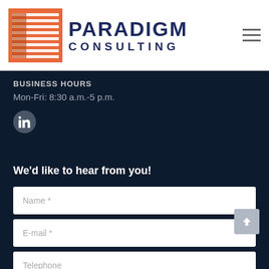[Figure (logo): Paradigm Consulting logo with orange/red grid icon and dark navy text]
BUSINESS HOURS
Mon-Fri: 8:30 a.m.-5 p.m.
[Figure (logo): LinkedIn circular badge icon]
We'd like to hear from you!
Name *
E-mail *
Telephone
Company